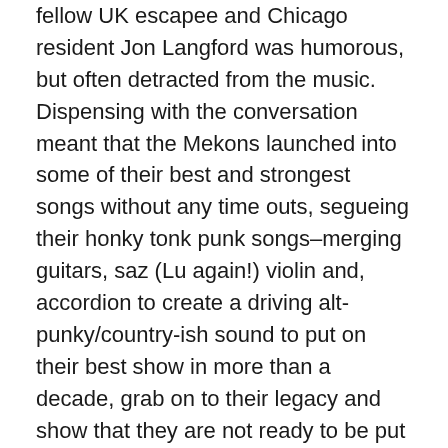fellow UK escapee and Chicago resident Jon Langford was humorous, but often detracted from the music. Dispensing with the conversation meant that the Mekons launched into some of their best and strongest songs without any time outs, segueing their honky tonk punk songs–merging guitars, saz (Lu again!) violin and, accordion to create a driving alt-punky/country-ish sound to put on their best show in more than a decade, grab on to their legacy and show that they are not ready to be put out to pasture.
THE FOREIGN RESORT (My house and The Burlington, October 19)
Channeling new wave bands like The Cure, Simple Minds, New Order, U2 and The Bravery, this trio from Copenhagen synthesizes it all to create something